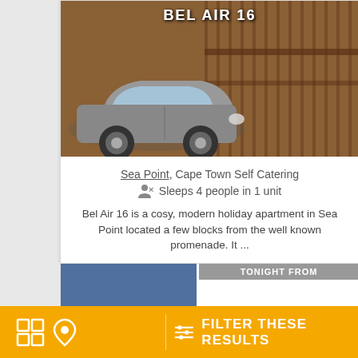BEL AIR 16
[Figure (photo): Photo of a small car parked in front of a building with metal railings, warm brown tones]
Sea Point, Cape Town Self Catering
Sleeps 4 people in 1 unit
Bel Air 16 is a cosy, modern holiday apartment in Sea Point located a few blocks from the well known promenade. It ...
[Figure (infographic): Amenity icons: TV, free WiFi, first-aid, parking, pets, kitchen, family-friendly]
VIEW ACCOMMODATION
instant booking possible
TONIGHT FROM
FILTER THESE RESULTS